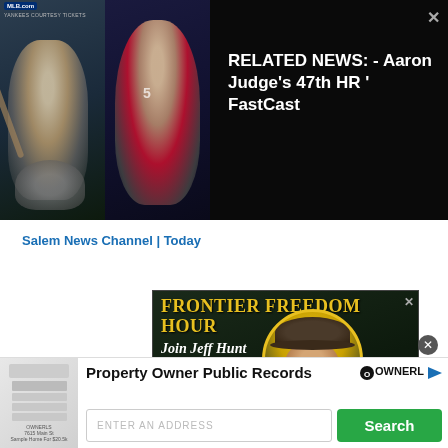[Figure (screenshot): MLB.com baseball video thumbnail showing two baseball action photos side-by-side with players batting, dark background]
RELATED NEWS: - Aaron Judge's 47th HR ' FastCast
Salem News Channel | Today
[Figure (screenshot): Frontier Freedom Hour advertisement with Jeff Hunt, yellow text on dark green/black background, featuring faith, family, freedom topics with a man in a cowboy hat and a woman chatting]
[Figure (screenshot): Property Owner Public Records OWNERL advertisement with address search input and Search button]